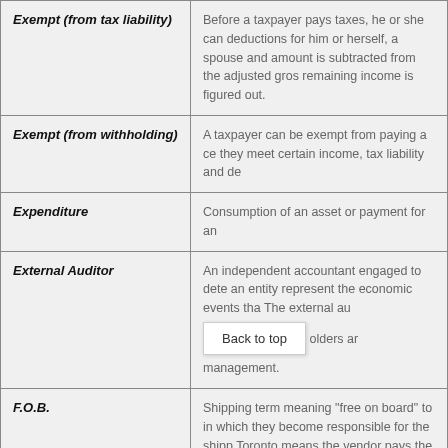| Term | Definition |
| --- | --- |
| Exempt (from tax liability) | Before a taxpayer pays taxes, he or she can deductions for him or herself, a spouse and amount is subtracted from the adjusted gros remaining income is figured out. |
| Exempt (from withholding) | A taxpayer can be exempt from paying a ce they meet certain income, tax liability and de |
| Expenditure | Consumption of an asset or payment for an |
| External Auditor | An independent accountant engaged to dete an entity represent the economic events tha The external au [Back to top] olders ar management. |
| F.O.B. | Shipping term meaning "free on board" to in which they become responsible for the ship Toronto means the vendor pays the charges purchaser is responsible from there. |